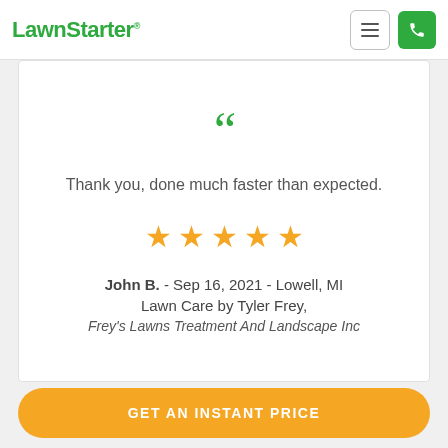LawnStarter
Thank you, done much faster than expected.
★★★★★
John B. - Sep 16, 2021 - Lowell, MI
Lawn Care by Tyler Frey,
Frey's Lawns Treatment And Landscape Inc
GET AN INSTANT PRICE